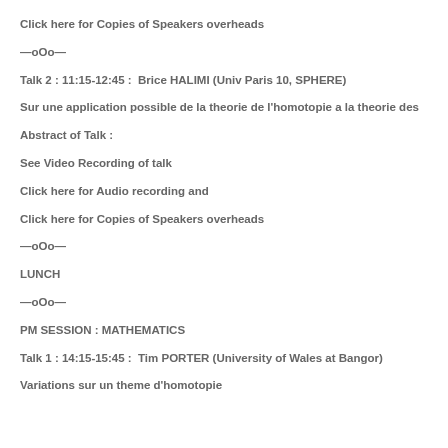Click here for Copies of Speakers overheads
—oOo—
Talk 2 : 11:15-12:45 :  Brice HALIMI (Univ Paris 10, SPHERE)
Sur une application possible de la theorie de l'homotopie a la theorie des
Abstract of Talk :
See Video Recording of talk
Click here for Audio recording and
Click here for Copies of Speakers overheads
—oOo—
LUNCH
—oOo—
PM SESSION : MATHEMATICS
Talk 1 : 14:15-15:45 :  Tim PORTER (University of Wales at Bangor)
Variations sur un theme d'homotopie